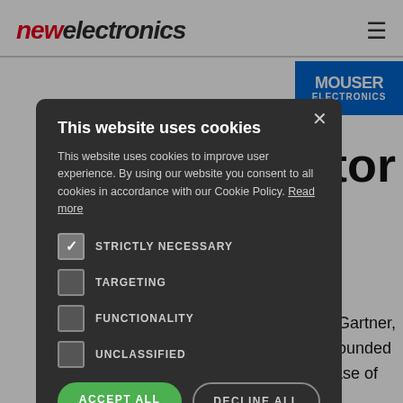newelectronics
[Figure (screenshot): Mouser Electronics blue banner advertisement]
ductor 020
m Gartner, ebounded rease of
This website uses cookies
This website uses cookies to improve user experience. By using our website you consent to all cookies in accordance with our Cookie Policy. Read more
STRICTLY NECESSARY (checked)
TARGETING
FUNCTIONALITY
UNCLASSIFIED
ACCEPT ALL
DECLINE ALL
SHOW DETAILS